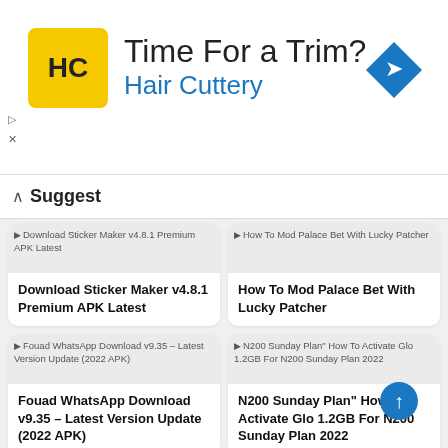[Figure (infographic): Hair Cuttery advertisement banner with yellow logo showing HC initials, text 'Time For a Trim?' and 'Hair Cuttery' in blue, and a blue diamond navigation arrow icon on the right]
▶ Suggest
[Figure (screenshot): Thumbnail placeholder for Download Sticker Maker v4.8.1 Premium APK Latest]
Download Sticker Maker v4.8.1 Premium APK Latest
Download Sticker Maker v4.8.1 Premium APK Latest
[Figure (screenshot): Thumbnail placeholder for How To Mod Palace Bet With Lucky Patcher]
How To Mod Palace Bet With Lucky Patcher
How To Mod Palace Bet With Lucky Patcher
[Figure (screenshot): Thumbnail placeholder for Fouad WhatsApp Download v9.35 – Latest Version Update (2022 APK)]
Fouad WhatsApp Download v9.35 – Latest Version Update (2022 APK)
Fouad WhatsApp Download v9.35 – Latest Version Update (2022 APK)
[Figure (screenshot): Thumbnail placeholder for N200 Sunday Plan How To Activate Glo 1.2GB For N200 Sunday Plan 2022]
N200 Sunday Plan" How To Activate Glo 1.2GB For N200 Sunday Plan 2022
N200 Sunday Plan" How To Activate Glo 1.2GB For N200 Sunday Plan 2022